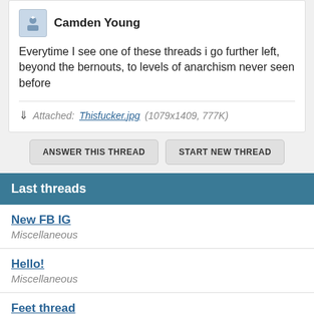Camden Young
Everytime I see one of these threads i go further left, beyond the bernouts, to levels of anarchism never seen before
Attached: Thisfucker.jpg (1079x1409, 777K)
ANSWER THIS THREAD
START NEW THREAD
Last threads
New FB IG
Miscellaneous
Hello!
Miscellaneous
Feet thread
Miscellaneous